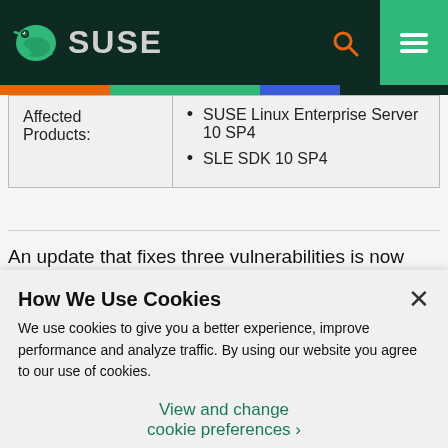SUSE
| Affected Products: |  |
| --- | --- |
| Affected Products: | • SUSE Linux Enterprise Server 10 SP4
• SLE SDK 10 SP4 |
An update that fixes three vulnerabilities is now
How We Use Cookies
We use cookies to give you a better experience, improve performance and analyze traffic. By using our website you agree to our use of cookies.
View and change cookie preferences ›